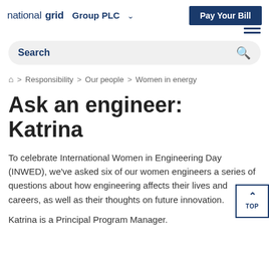nationalgrid Group PLC | Pay Your Bill
Search
Home > Responsibility > Our people > Women in energy
Ask an engineer: Katrina
To celebrate International Women in Engineering Day (INWED), we've asked six of our women engineers a series of questions about how engineering affects their lives and careers, as well as their thoughts on future innovation.
Katrina is a Principal Program Manager.